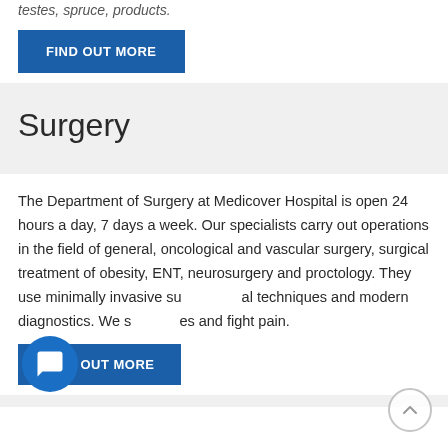testes, spruce, products.
FIND OUT MORE
Surgery
The Department of Surgery at Medicover Hospital is open 24 hours a day, 7 days a week. Our specialists carry out operations in the field of general, oncological and vascular surgery, surgical treatment of obesity, ENT, neurosurgery and proctology. They use minimally invasive surgical techniques and modern diagnostics. We save lives and fight pain.
FIND OUT MORE